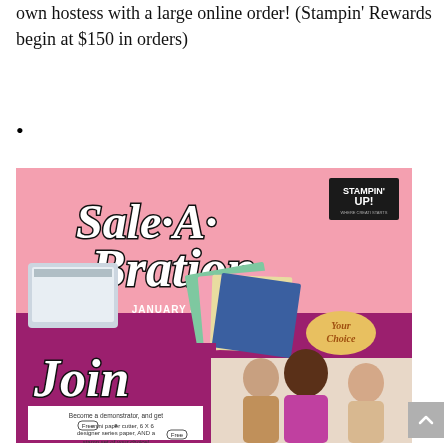own hostess with a large online order! (Stampin' Rewards begin at $150 in orders)
[Figure (infographic): Sale-A-Bration promotional banner for Stampin' Up! January 3–March 31, 2020. Pink and magenta background with 'Sale-A-Bration' in large script text, craft products including paper cutter and designer series paper shown. Lower section shows 'Join' text with an offer to become a demonstrator and get a free mini paper cutter, 6x6 designer series paper, and a free stamp set of choice. 'SIGN UP WITH ME' button. Photo of women smiling.]